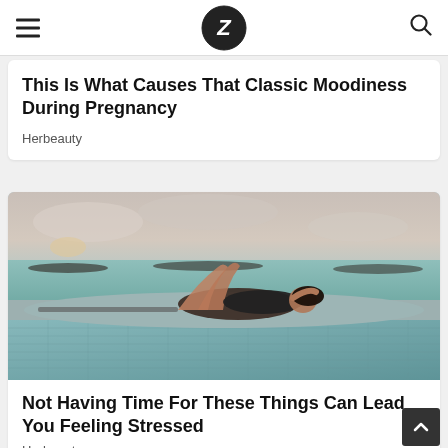Z logo navigation header with hamburger menu and search icon
This Is What Causes That Classic Moodiness During Pregnancy
Herbeauty
[Figure (photo): Woman in black swimsuit reclining on the edge of a tiled infinity pool overlooking the ocean at sunset]
Not Having Time For These Things Can Lead You Feeling Stressed
Herbeauty